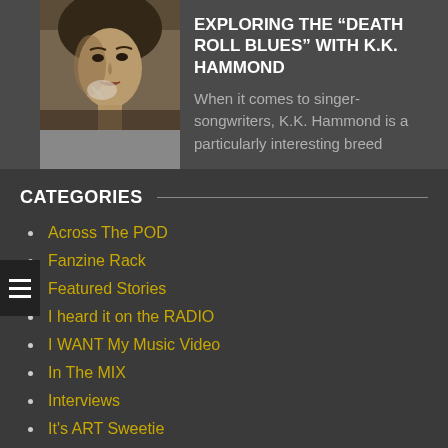[Figure (photo): Sepia-toned portrait of a woman, presumably K.K. Hammond]
EXPLORING THE “DEATH ROLL BLUES” WITH K.K. HAMMOND
When it comes to singer-songwriters, K.K. Hammond is a particularly interesting breed
CATEGORIES
Across The POD
Fanzine Rack
Featured Stories
I heard it on the RADIO
I WANT My Music Video
In The MIX
Interviews
It's ART Sweetie
Killer Kilter